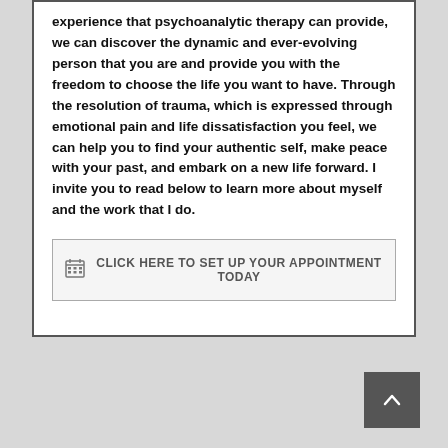experience that psychoanalytic therapy can provide, we can discover the dynamic and ever-evolving person that you are and provide you with the freedom to choose the life you want to have. Through the resolution of trauma, which is expressed through emotional pain and life dissatisfaction you feel, we can help you to find your authentic self, make peace with your past, and embark on a new life forward. I invite you to read below to learn more about myself and the work that I do.
CLICK HERE TO SET UP YOUR APPOINTMENT TODAY